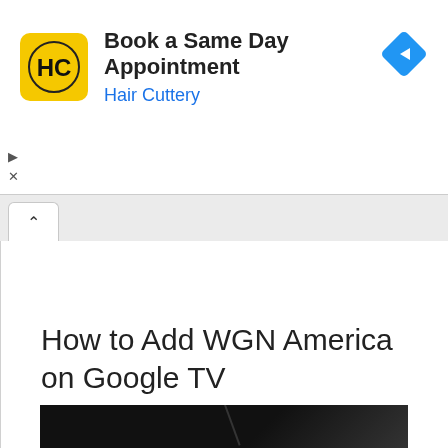[Figure (logo): Hair Cuttery advertisement banner with HC logo, text 'Book a Same Day Appointment' and 'Hair Cuttery', blue navigation diamond icon, and ad controls (play and close buttons)]
^
How to Add WGN America on Google TV
by Admin | Sep 28, 2021 | Guide | 0 comments
[Figure (photo): Dark/black image with faint light streak, partial view at bottom of page]